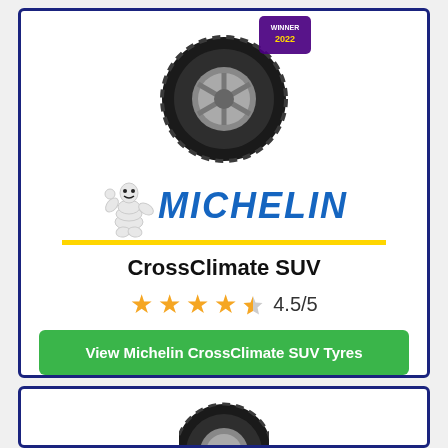[Figure (illustration): Michelin CrossClimate SUV tyre with a 'Winner 2022' badge on the upper right, shown from the front at a slight angle. Below the tyre is the Michelin Man (Bibendum) mascot waving, next to the italic blue MICHELIN logo with a yellow underline bar.]
CrossClimate SUV
4.5/5 (star rating with 4 full stars and 1 half star)
View Michelin CrossClimate SUV Tyres
Prices from £163.20
[Figure (illustration): Partial view of a second tyre product card showing the top of a tyre illustration, beginning of a second product listing.]